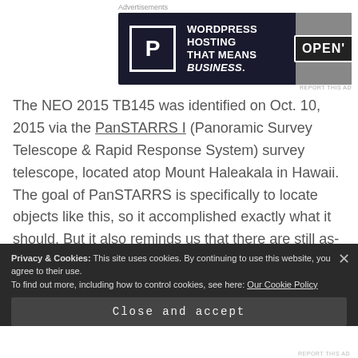[Figure (other): Advertisement banner: WordPress Hosting That Means Business with P logo and OPEN sign]
The NEO 2015 TB145 was identified on Oct. 10, 2015 via the PanSTARRS I (Panoramic Survey Telescope & Rapid Response System) survey telescope, located atop Mount Haleakala in Hawaii. The goal of PanSTARRS is specifically to locate objects like this, so it accomplished exactly what it should. But it also reminds us that there are still as-yet undiscovered objects out there orbiting the Sun in the vicinity of our
Privacy & Cookies: This site uses cookies. By continuing to use this website, you agree to their use.
To find out more, including how to control cookies, see here: Our Cookie Policy
Close and accept